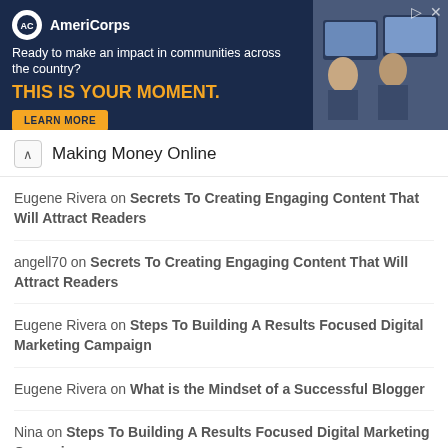[Figure (photo): AmeriCorps advertisement banner with dark navy background, logo, tagline 'Ready to make an impact in communities across the country?', headline 'THIS IS YOUR MOMENT.' in yellow, a LEARN MORE button, and a photo of people at computers on the right.]
Making Money Online
Eugene Rivera on Secrets To Creating Engaging Content That Will Attract Readers
angell70 on Secrets To Creating Engaging Content That Will Attract Readers
Eugene Rivera on Steps To Building A Results Focused Digital Marketing Campaign
Eugene Rivera on What is the Mindset of a Successful Blogger
Nina on Steps To Building A Results Focused Digital Marketing Campaign
Yana Lukashik on What is the Mindset of a Successful Blogger